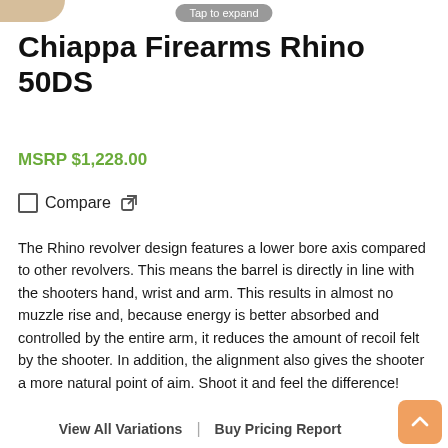[Figure (photo): Partial image of a firearm (Chiappa Firearms Rhino 50DS) visible at top left corner, with a 'Tap to expand' button overlay]
Chiappa Firearms Rhino 50DS
MSRP $1,228.00
Compare
The Rhino revolver design features a lower bore axis compared to other revolvers. This means the barrel is directly in line with the shooters hand, wrist and arm. This results in almost no muzzle rise and, because energy is better absorbed and controlled by the entire arm, it reduces the amount of recoil felt by the shooter. In addition, the alignment also gives the shooter a more natural point of aim. Shoot it and feel the difference!
View All Variations | Buy Pricing Report